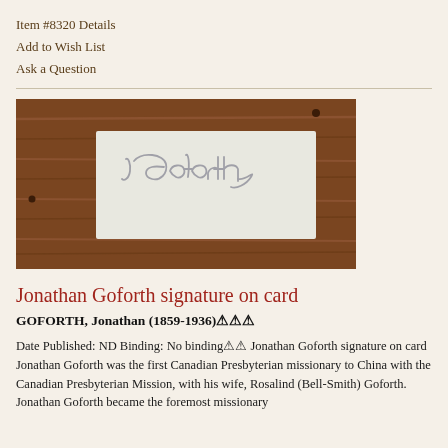Item #8320 Details
Add to Wish List
Ask a Question
[Figure (photo): A signature on a white card mounted on a wooden board. The signature reads 'J Goforth' in cursive script.]
Jonathan Goforth signature on card
GOFORTH, Jonathan (1859-1936)
Date Published: ND Binding: No binding   Jonathan Goforth signature on card Jonathan Goforth was the first Canadian Presbyterian missionary to China with the Canadian Presbyterian Mission, with his wife, Rosalind (Bell-Smith) Goforth. Jonathan Goforth became the foremost missionary